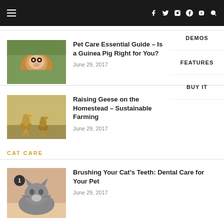Navigation bar with hamburger menu and social icons: f, twitter, instagram, pinterest, tumblr, youtube, search
Pet Care Essential Guide – Is a Guinea Pig Right for You?
June 29, 2017
Raising Geese on the Homestead – Sustainable Farming
June 29, 2017
CAT CARE
Brushing Your Cat's Teeth: Dental Care for Your Pet
June 29, 2017
[Figure (other): Dropdown navigation menu with items: DEMOS, FEATURES, BUY IT]